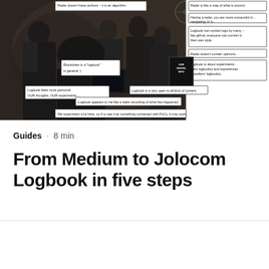[Figure (photo): Group of people in a dark workspace having a discussion. Multiple speech bubbles overlaid on the photo contain text about Radar and Logbook comparisons. Bubbles include: 'Radar doesn't have authors – it is an algorithm.', 'Radar is like a map of what is around.', 'Having a radar, you are more successful in... navigating, in b...', 'Logbook can contain logs by many – like github, everyone can commit in their own style.', 'Radar doesn't contain opinions.', 'Logbook is about experiments (labs logbooks) and experiences (travellers' logbooks).', 'Blockchain is a "logbook" in general :)', 'Logbook feels more personal: OUR thoughts, OUR experiments ...', 'Logbook is a very open to all kind of content.', 'Logbook appears to me like a static recording of what has happened.', 'We experiment a lot here, so if to see it as something connected with PoCs, it may work.']
Guides · 8 min
From Medium to Jolocom Logbook in five steps